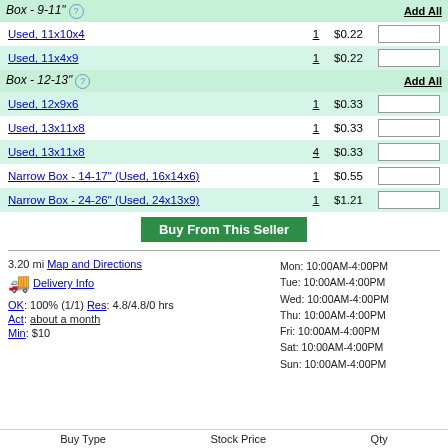Box - 9-11"
Used, 11x10x4  1  $0.22
Used, 11x4x9  1  $0.22
Box - 12-13"
Used, 12x9x6  1  $0.33
Used, 13x11x8  1  $0.33
Used, 13x11x8  4  $0.33
Narrow Box - 14-17" (Used, 16x14x6)  1  $0.55
Narrow Box - 24-26" (Used, 24x13x9)  1  $1.21
Buy From This Seller
3.20 mi  Map and Directions
Delivery Info
Mon: 10:00AM-4:00PM
Tue: 10:00AM-4:00PM
Wed: 10:00AM-4:00PM
Thu: 10:00AM-4:00PM
Fri: 10:00AM-4:00PM
Sat: 10:00AM-4:00PM
Sun: 10:00AM-4:00PM
OK: 100% (1/1) Res: 4.8/4.8/0 hrs
Act: about a month
Min: $10
Buy Type  Stock Price  Qty